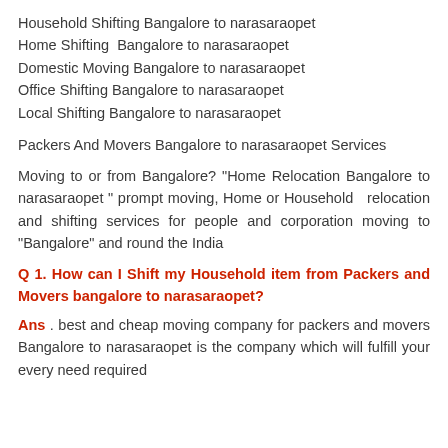Household Shifting Bangalore to narasaraopet
Home Shifting  Bangalore to narasaraopet
Domestic Moving Bangalore to narasaraopet
Office Shifting Bangalore to narasaraopet
Local Shifting Bangalore to narasaraopet
Packers And Movers Bangalore to narasaraopet Services
Moving to or from Bangalore? "Home Relocation Bangalore to narasaraopet " prompt moving, Home or Household  relocation and shifting services for people and corporation moving to "Bangalore" and round the India
Q 1. How can I Shift my Household item from Packers and Movers bangalore to narasaraopet?
Ans . best and cheap moving company for packers and movers Bangalore to narasaraopet is the company which will fulfill your every need required